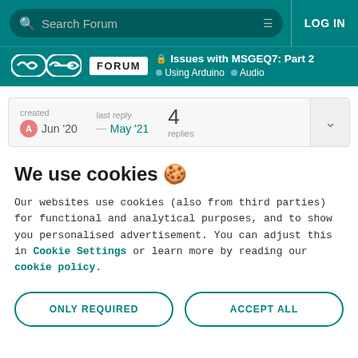Search Forum | LOG IN
Issues with MSGEQ7: Part 2 | Using Arduino | Audio
| created | last reply | 4 replies |
| --- | --- | --- |
| A Jun '20 | — May '21 |  |
We use cookies 🍪
Our websites use cookies (also from third parties) for functional and analytical purposes, and to show you personalised advertisement. You can adjust this in Cookie Settings or learn more by reading our cookie policy.
ONLY REQUIRED | ACCEPT ALL